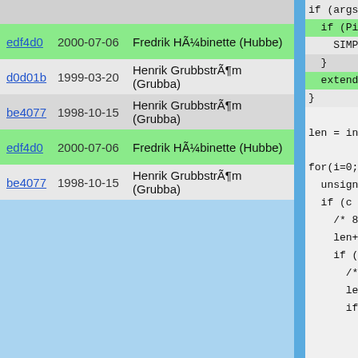| commit | date | author |
| --- | --- | --- |
| edf4d0 | 2000-07-06 | Fredrik HÃ¼binette (Hubbe) |
| d0d01b | 1999-03-20 | Henrik GrubbstrÃ¶m (Grubba) |
| be4077 | 1998-10-15 | Henrik GrubbstrÃ¶m (Grubba) |
| edf4d0 | 2000-07-06 | Fredrik HÃ¼binette (Hubbe) |
| be4077 | 1998-10-15 | Henrik GrubbstrÃ¶m (Grubba) |
[Figure (screenshot): Code panel showing C code fragment: if (args, if (Pi, SIMP, }, extend, }, len = in, for(i=0;, unsign, if (c, /* 8, len+, if (, /*, le, if]